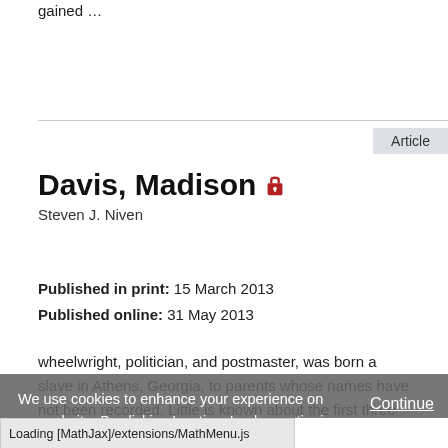gained …
Article
Davis, Madison 🔒
Steven J. Niven
Published in print: 15 March 2013
Published online: 31 May 2013
wheelwright, politician, and postmaster, was born a slave in Athens, Georgia, to parents whose names have not been recorded. Little is known about the first three decades of his
We use cookies to enhance your experience on our website. By clicking 'continue' or by continuing to use our website, you are agreeing to our use of cookies. You can change your cookie settings at any time.
Continue
Find out more
Loading [MathJax]/extensions/MathMenu.js